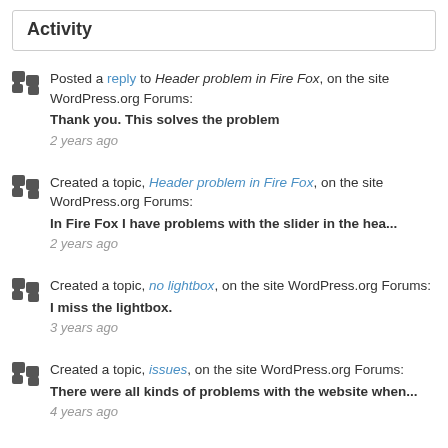Activity
Posted a reply to Header problem in Fire Fox, on the site WordPress.org Forums:
Thank you. This solves the problem
2 years ago
Created a topic, Header problem in Fire Fox, on the site WordPress.org Forums:
In Fire Fox I have problems with the slider in the hea...
2 years ago
Created a topic, no lightbox, on the site WordPress.org Forums:
I miss the lightbox.
3 years ago
Created a topic, issues, on the site WordPress.org Forums:
There were all kinds of problems with the website when...
4 years ago